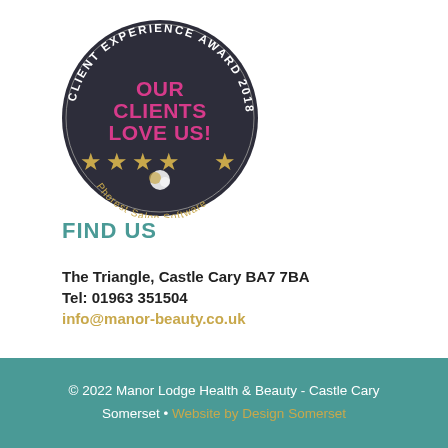[Figure (logo): Client Experience Award 2018 badge — dark circular badge with text 'CLIENT EXPERIENCE AWARD 2018' around the edge, center text 'OUR CLIENTS LOVE US!' in pink/magenta bold font, five gold stars below, a small Phorest logo at the bottom, 'Phorest Salon Software' text around the lower arc.]
FIND US
The Triangle, Castle Cary BA7 7BA
Tel: 01963 351504
info@manor-beauty.co.uk
© 2022 Manor Lodge Health & Beauty - Castle Cary Somerset • Website by Design Somerset